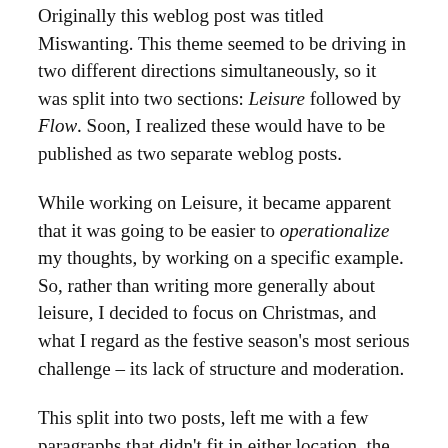Originally this weblog post was titled Miswanting. This theme seemed to be driving in two different directions simultaneously, so it was split into two sections: Leisure followed by Flow. Soon, I realized these would have to be published as two separate weblog posts.
While working on Leisure, it became apparent that it was going to be easier to operationalize my thoughts, by working on a specific example. So, rather than writing more generally about leisure, I decided to focus on Christmas, and what I regard as the festive season's most serious challenge – its lack of structure and moderation.
This split into two posts, left me with a few paragraphs that didn't fit in either location, the introduction to miswanting. Here it is, reworked as an afterthought.
Miswanting is the coveting of something that one